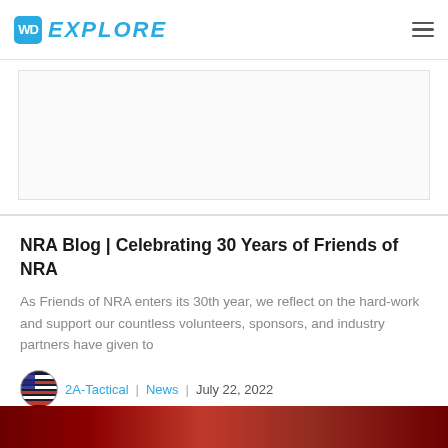WD EXPLORE
[Figure (other): Advertisement placeholder area with white box and border]
NRA Blog | Celebrating 30 Years of Friends of NRA
As Friends of NRA enters its 30th year, we reflect on the hard-work and support our countless volunteers, sponsors, and industry partners have given to
2A-Tactical | News | July 22, 2022
[Figure (photo): Partial image visible at bottom of page, red/dark tones suggesting an outdoor or vehicle scene]